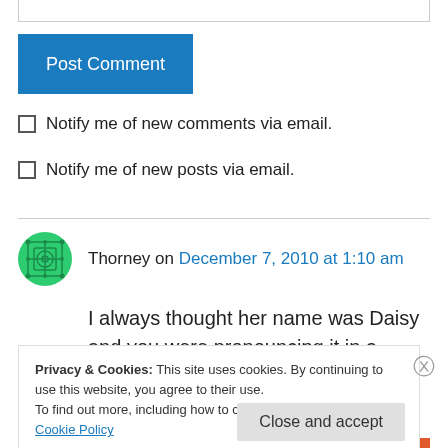[Figure (screenshot): Top portion of a web comment form input field (text box, partially visible)]
Post Comment
Notify me of new comments via email.
Notify me of new posts via email.
Thorney on December 7, 2010 at 1:10 am
I always thought her name was Daisy and you were pronouncing it in a poncey way. PHEW
Privacy & Cookies: This site uses cookies. By continuing to use this website, you agree to their use.
To find out more, including how to control cookies, see here: Cookie Policy
Close and accept